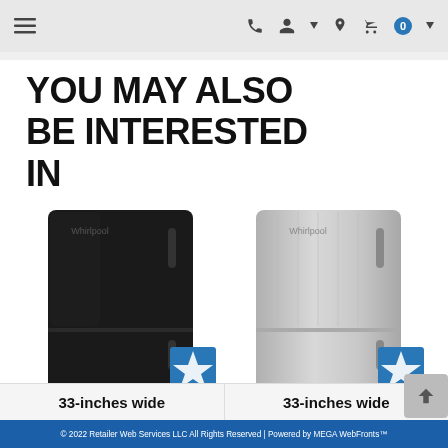Navigation bar with menu, phone, account, location, and cart icons
YOU MAY ALSO BE INTERESTED IN
[Figure (photo): Black bottom-freezer refrigerator (33-inches wide) with ENERGY STAR badge]
[Figure (photo): Stainless steel bottom-freezer refrigerator (33-inches wide) with ENERGY STAR badge]
33-inches wide
33-inches wide
© 2022 Retailer Web Services LLC All Rights Reserved | Powered by MEGA WebFronts™